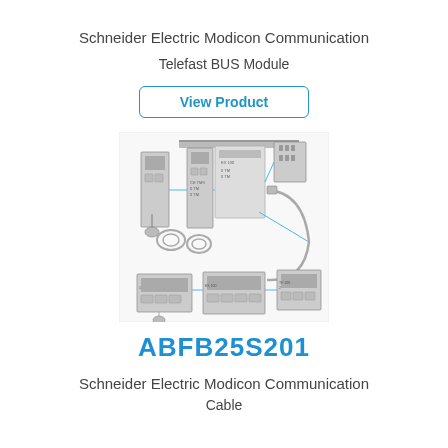Schneider Electric Modicon Communication
Telefast BUS Module
View Product
[Figure (illustration): Technical illustration of Schneider Electric Modicon Communication Telefast BUS Module system components including modules, cables, connectors, and bus connections]
ABFB25S201
Schneider Electric Modicon Communication
Cable